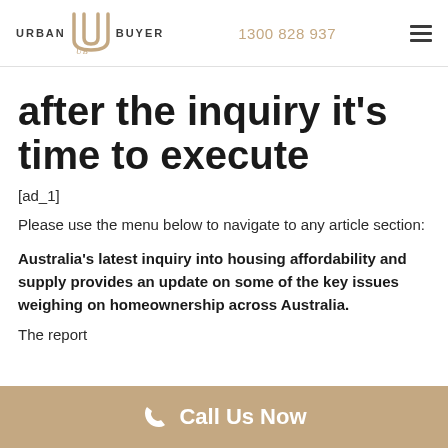URBAN UB BUYER  1300 828 937
after the inquiry it's time to execute
[ad_1]
Please use the menu below to navigate to any article section:
Australia's latest inquiry into housing affordability and supply provides an update on some of the key issues weighing on homeownership across Australia.
The report
Call Us Now